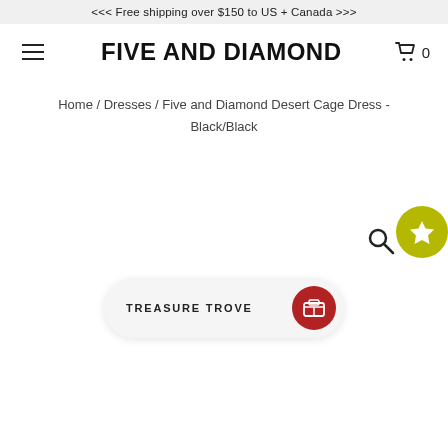<<< Free shipping over $150 to US + Canada >>>
FIVE AND DIAMOND
Home / Dresses / Five and Diamond Desert Cage Dress - Black/Black
[Figure (screenshot): Search icon and gold star wishlist button overlay on white background]
[Figure (screenshot): Treasure Trove chat/rewards widget with dark red circular icon at bottom of page]